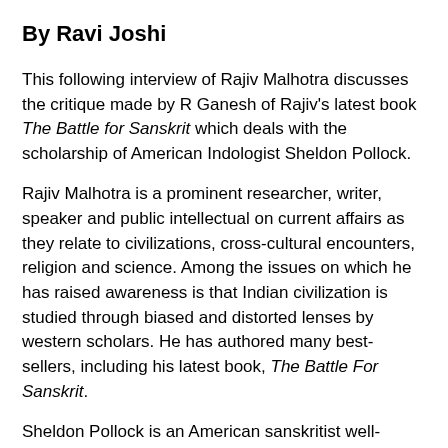By Ravi Joshi
This following interview of Rajiv Malhotra discusses the critique made by R Ganesh of Rajiv's latest book The Battle for Sanskrit which deals with the scholarship of American Indologist Sheldon Pollock.
Rajiv Malhotra is a prominent researcher, writer, speaker and public intellectual on current affairs as they relate to civilizations, cross-cultural encounters, religion and science. Among the issues on which he has raised awareness is that Indian civilization is studied through biased and distorted lenses by western scholars. He has authored many best-sellers, including his latest book, The Battle For Sanskrit.
Sheldon Pollock is an American sanskritist well-known for his writings on the intellectual and literary history of India. He also studies comparative intellectual history and occupies a prestigious professorship at Columbia University. He was the general editor of the Clay Sanskrit Library and is the founding editor of the Murty Classical Library of India. He is